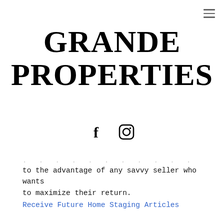GRANDE PROPERTIES
[Figure (other): Social media icons: Facebook (f) and Instagram logo]
to the advantage of any savvy seller who wants to maximize their return.
Receive Future Home Staging Articles